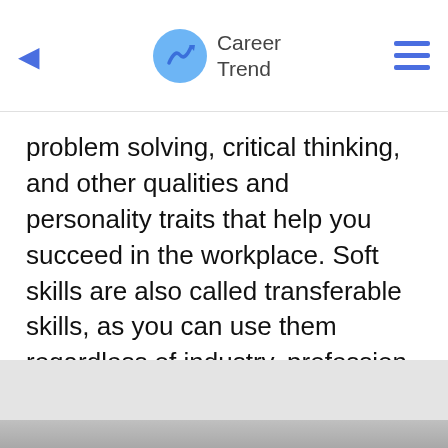Career Trend
problem solving, critical thinking, and other qualities and personality traits that help you succeed in the workplace. Soft skills are also called transferable skills, as you can use them regardless of industry, profession or position.